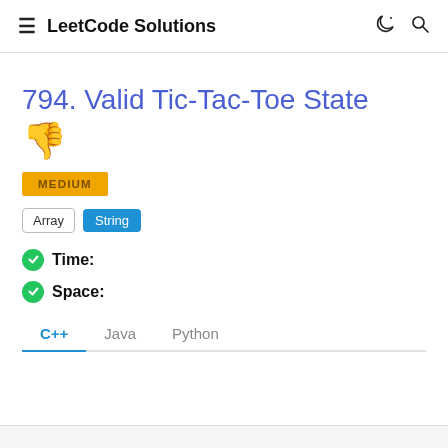LeetCode Solutions
794. Valid Tic-Tac-Toe State
👎
MEDIUM
Array  String
Time:
Space:
C++  Java  Python